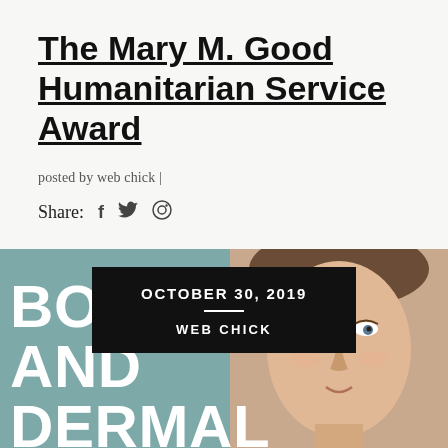The Mary M. Good Humanitarian Service Award
posted by web chick |
Share: f 🐦 ⊕
[Figure (photo): Promotional image with teal background on the left and a woman's face on the right. A black overlay box in the center reads 'OCTOBER 30, 2019' with a divider and 'WEB CHICK' below. Large white bold text at the bottom left reads 'BOTOX AND DERMAL'.]